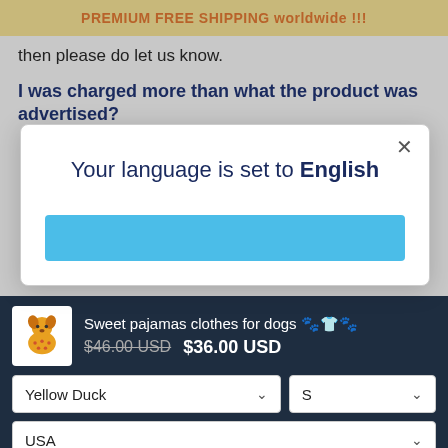PREMIUM FREE SHIPPING worldwide !!!
then please do let us know.
I was charged more than what the product was advertised?
Your language is set to English
Sweet pajamas clothes for dogs 🐶👕🐾  $46.00 USD  $36.00 USD
Yellow Duck
S
USA
- 1 +
Add To Cart